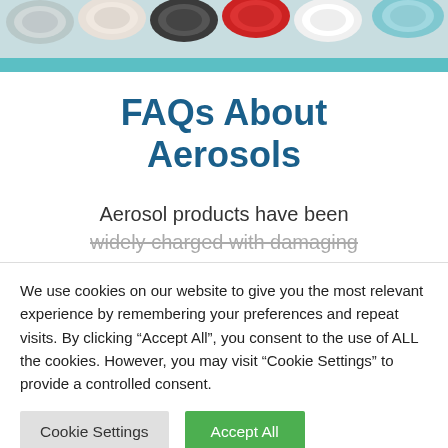[Figure (photo): Header image showing tops of aerosol/tin cans from above, with a teal/cyan bar below]
FAQs About Aerosols
Aerosol products have been widely charged with damaging
We use cookies on our website to give you the most relevant experience by remembering your preferences and repeat visits. By clicking “Accept All”, you consent to the use of ALL the cookies. However, you may visit “Cookie Settings” to provide a controlled consent.